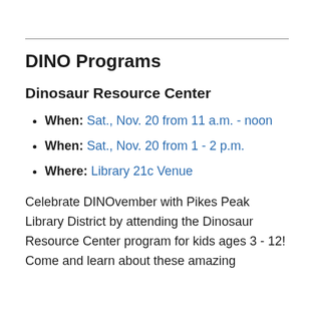DINO Programs
Dinosaur Resource Center
When: Sat., Nov. 20 from 11 a.m. - noon
When: Sat., Nov. 20 from 1 - 2 p.m.
Where: Library 21c Venue
Celebrate DINOvember with Pikes Peak Library District by attending the Dinosaur Resource Center program for kids ages 3 - 12! Come and learn about these amazing